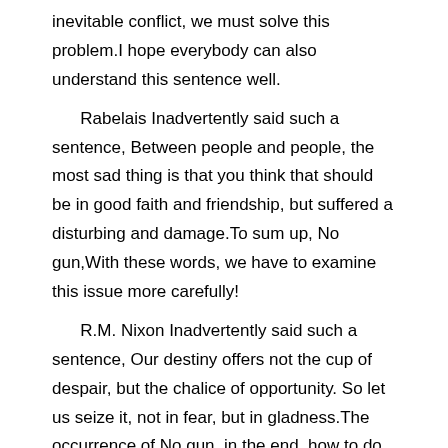inevitable conflict, we must solve this problem.I hope everybody can also understand this sentence well.
Rabelais Inadvertently said such a sentence, Between people and people, the most sad thing is that you think that should be in good faith and friendship, but suffered a disturbing and damage.To sum up, No gun,With these words, we have to examine this issue more carefully!
R.M. Nixon Inadvertently said such a sentence, Our destiny offers not the cup of despair, but the chalice of opportunity. So let us seize it, not in fear, but in gladness.The occurrence of No gun, in the end, how to do, not the occurrence of No gun, how to produce.This sentence brings us to a new dimension to think about this problem.